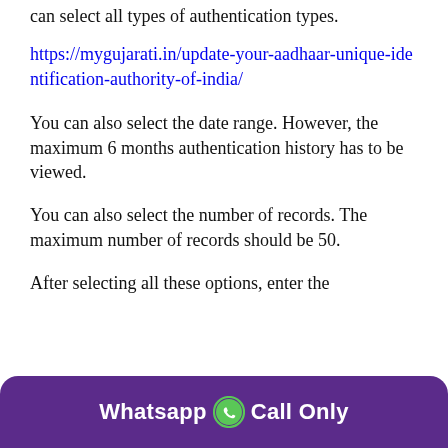can select all types of authentication types.
https://mygujarati.in/update-your-aadhaar-unique-identification-authority-of-india/
You can also select the date range. However, the maximum 6 months authentication history has to be viewed.
You can also select the number of records. The maximum number of records should be 50.
After selecting all these options, enter the
[Figure (infographic): Purple rounded button at bottom of page with text 'Whatsapp [WhatsApp icon] Call Only']